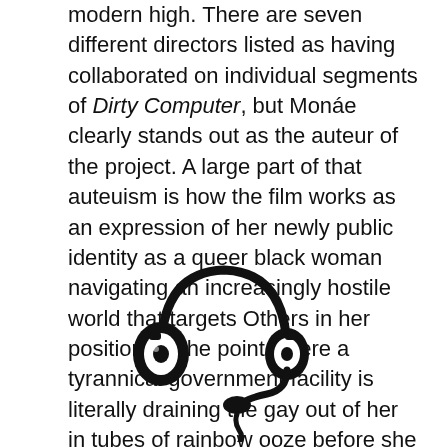modern high. There are seven different directors listed as having collaborated on individual segments of Dirty Computer, but Monáe clearly stands out as the auteur of the project. A large part of that auteuism is how the film works as an expression of her newly public identity as a queer black woman navigating an increasingly hostile world that targets Others in her position, to the point where a tyrannical government facility is literally draining the gay out of her in tubes of rainbow ooze before she rises against them in open bisexual rebellion.
[Figure (illustration): Black and white line drawing of a headset with microphone, cartoon style with simple circular ear cups and a curved boom mic with a squiggly cord dangling below.]